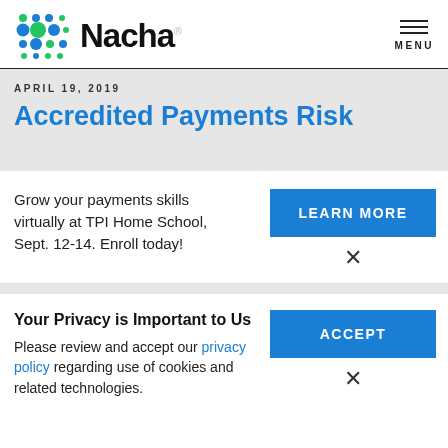[Figure (logo): Nacha logo with colorful dot grid and Nacha wordmark]
MENU
APRIL 19, 2019
Accredited Payments Risk
Grow your payments skills virtually at TPI Home School, Sept. 12-14. Enroll today!
LEARN MORE
Your Privacy is Important to Us
Please review and accept our privacy policy regarding use of cookies and related technologies.
ACCEPT